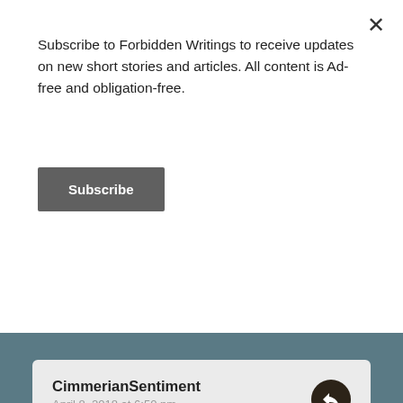Subscribe to Forbidden Writings to receive updates on new short stories and articles. All content is Ad-free and obligation-free.
Subscribe
CimmerianSentiment
April 8, 2018 at 6:50 pm

Criticisms are hart to take, I get them all the time. In the end I listen if it can improve my writing, ‘but’ we all have our filter word we tend to lean on 😉 I Loved your character BTW.

★ Liked by 1 person